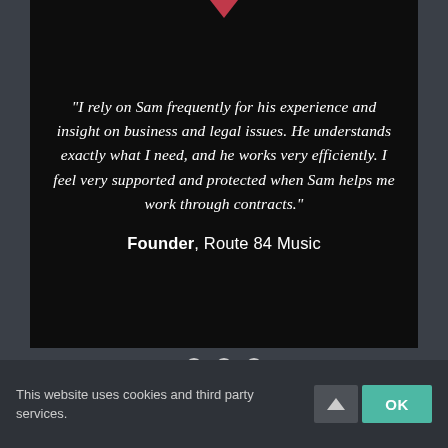“I rely on Sam frequently for his experience and insight on business and legal issues. He understands exactly what I need, and he works very efficiently. I feel very supported and protected when Sam helps me work through contracts.”
Founder, Route 84 Music
This website uses cookies and third party services.